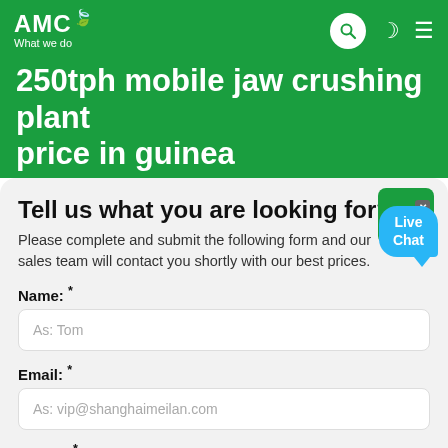AMC — What we do
250tph mobile jaw crushing plant price in guinea
Tell us what you are looking for?
Please complete and submit the following form and our sales team will contact you shortly with our best prices.
Name: *
As: Tom
Email: *
As: vip@shanghaimeilan.com
Phone: *
With Country Code